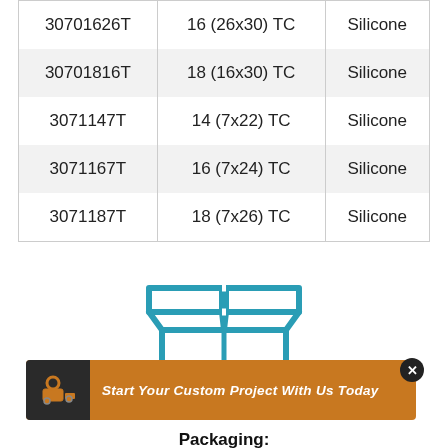| 30701626T | 16 (26x30) TC | Silicone |
| 30701816T | 18 (16x30) TC | Silicone |
| 3071147T | 14 (7x22) TC | Silicone |
| 3071167T | 16 (7x24) TC | Silicone |
| 3071187T | 18 (7x26) TC | Silicone |
[Figure (illustration): Open cardboard box icon drawn in teal/blue outline style]
Start Your Custom Project With Us Today
Packaging: